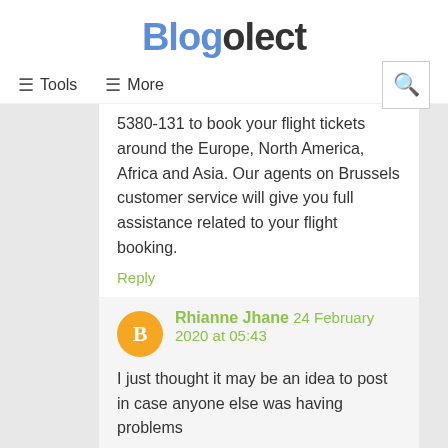Blogolect
≡ Tools   ≡ More
5380-131 to book your flight tickets around the Europe, North America, Africa and Asia. Our agents on Brussels customer service will give you full assistance related to your flight booking.
Reply
Rhianne Jhane  24 February 2020 at 05:43
I just thought it may be an idea to post in case anyone else was having problems